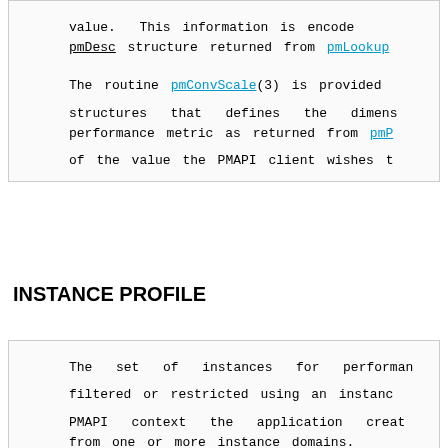value.  This information is encoded in the pmDesc structure returned from pmLookup...
The routine pmConvScale(3) is provided structures that defines the dimensions performance metric as returned from pmF... of the value the PMAPI client wishes to...
INSTANCE PROFILE
The set of instances for performance... filtered or restricted using an instance... PMAPI context the application creates... from one or more instance domains.
The routines pmAddProfile(3) and pmDelP... instance profile.